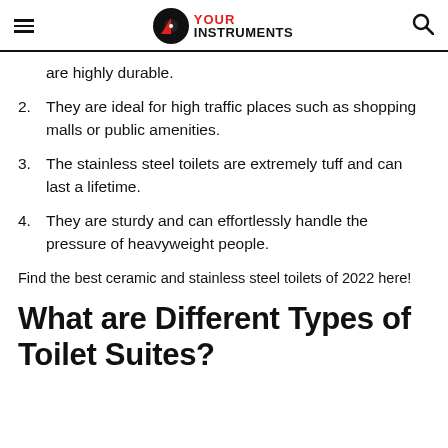YOUR INSTRUMENTS
are highly durable.
2. They are ideal for high traffic places such as shopping malls or public amenities.
3. The stainless steel toilets are extremely tuff and can last a lifetime.
4. They are sturdy and can effortlessly handle the pressure of heavyweight people.
Find the best ceramic and stainless steel toilets of 2022 here!
What are Different Types of Toilet Suites?